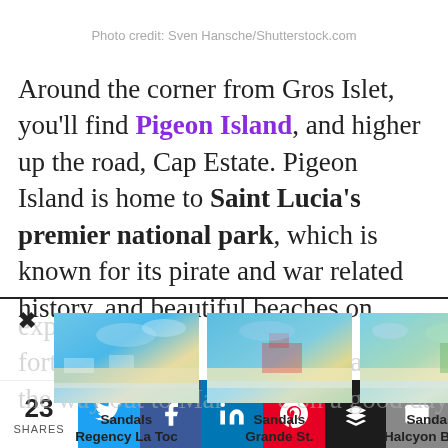Photo credit: Sven Hansche/Shutterstock.com
Around the corner from Gros Islet, you'll find Pigeon Island, and higher up the road, Cap Estate. Pigeon Island is home to Saint Lucia's premier national park, which is known for its pirate and war related history, and beautiful beaches on ...
[Figure (photo): Aerial photo of Sandals Regency La Toc resort beach]
Sandals Regency La Toc
[Figure (photo): Aerial photo of Sandals Grande St. Lucian resort beach]
Sandals Grande St. Lucian
[Figure (photo): Aerial photo of Sandals Halcyon Beach resort]
Sandals Halcyon Beach
23 SHARES